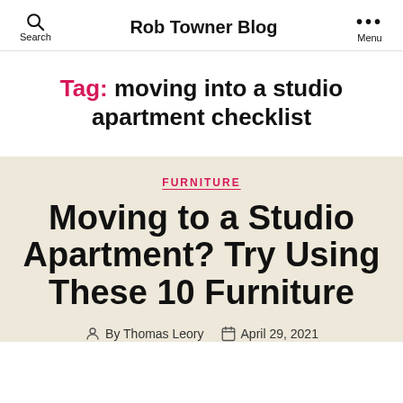Rob Towner Blog
Tag: moving into a studio apartment checklist
FURNITURE
Moving to a Studio Apartment? Try Using These 10 Furniture
By Thomas Leory   April 29, 2021